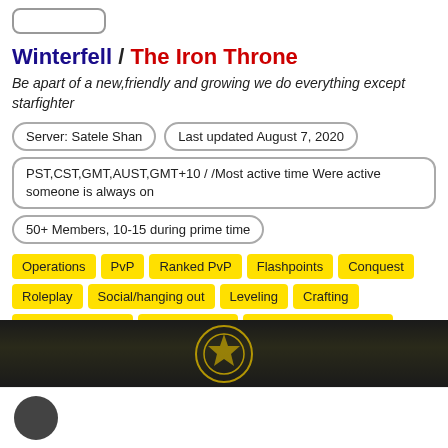Winterfell / The Iron Throne
Be apart of a new,friendly and growing we do everything except starfighter
Server: Satele Shan
Last updated August 7, 2020
PST,CST,GMT,AUST,GMT+10 / /Most active time Were active someone is always on
50+ Members, 10-15 during prime time
Operations
PvP
Ranked PvP
Flashpoints
Conquest
Roleplay
Social/hanging out
Leveling
Crafting
Datacron Hunting
World Bosses
Dueling / Tournaments
Open World PvP
Dailies
Heroics
Achievements
[Figure (illustration): Dark banner with game imagery and a circular golden emblem in the center]
[Figure (illustration): White bottom section with a dark circular logo/avatar]